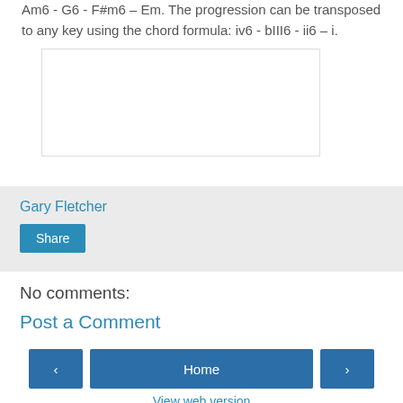Am6 - G6 - F#m6 – Em. The progression can be transposed to any key using the chord formula: iv6 - bIII6 - ii6 – i.
[Figure (other): Empty white input/text box with light border]
Gary Fletcher
Share
No comments:
Post a Comment
Home
View web version